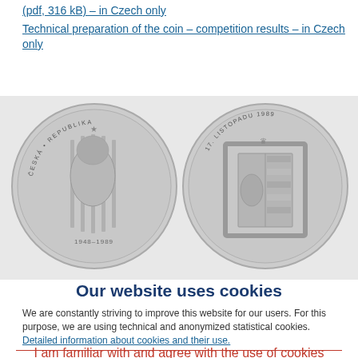(pdf, 316 kB) – in Czech only
Technical preparation of the coin – competition results – in Czech only
[Figure (photo): Two silver commemorative coins showing Czech heraldic lion behind bars (1948-1989) on the left coin, and a Czech coat of arms with '17. LISTOPADU 1989' inscription on the right coin.]
Our website uses cookies
We are constantly striving to improve this website for our users. For this purpose, we are using technical and anonymized statistical cookies.
Detailed information about cookies and their use.
I am familiar with and agree with the use of cookies